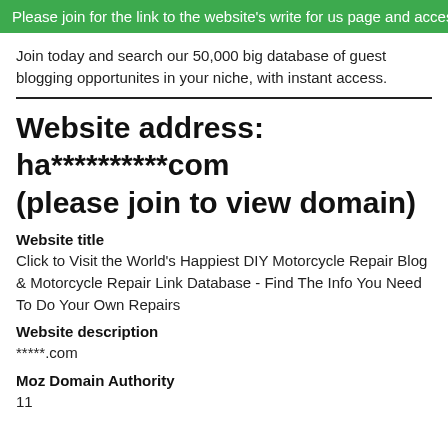Please join for the link to the website's write for us page and access to
Join today and search our 50,000 big database of guest blogging opportunites in your niche, with instant access.
Website address: ha**********com (please join to view domain)
Website title
Click to Visit the World&#039;s Happiest DIY Motorcycle Repair Blog & Motorcycle Repair Link Database - Find The Info You Need To Do Your Own Repairs
Website description
*****.com
Moz Domain Authority
11